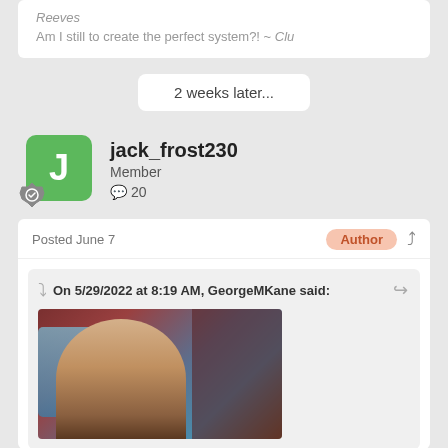Reeves
Am I still to create the perfect system?! ~ Clu
2 weeks later...
jack_frost230
Member
20
Posted June 7
Author
On 5/29/2022 at 8:19 AM, GeorgeMKane said:
[Figure (photo): A man in a suit looking serious, background with bar/bottles area, appears to be a TV show screenshot]